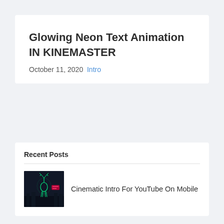Glowing Neon Text Animation IN KINEMASTER
October 11, 2020  Intro
Recent Posts
[Figure (photo): Thumbnail image showing a cinematic intro scene with a glowing deer/stag silhouette in green neon light on a dark background]
Cinematic Intro For YouTube On Mobile